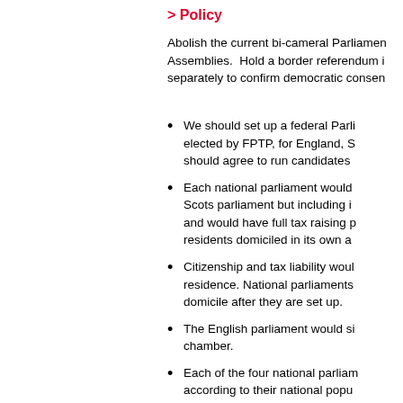> Policy
Abolish the current bi-cameral Parliament and replace with National Assemblies.  Hold a border referendum in each of the four nations separately to confirm democratic consent.
We should set up a federal Parliament, elected by FPTP, for England, S... should agree to run candidates...
Each national parliament would... Scots parliament but including i... and would have full tax raising p... residents domiciled in its own a...
Citizenship and tax liability woul... residence. National parliaments... domicile after they are set up.
The English parliament would si... chamber.
Each of the four national parliam... according to their national popu... There would be no separate ele... would be nominated by the natio... with the political parties represe...